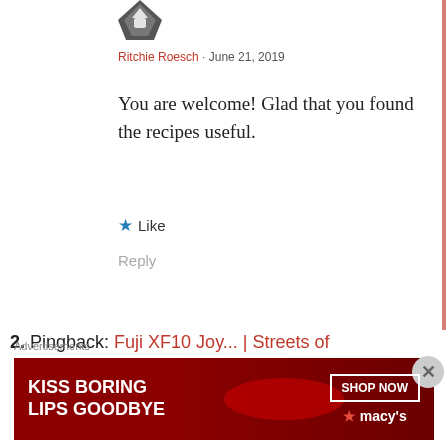[Figure (illustration): User avatar - dark silhouette upload icon]
Ritchie Roesch · June 21, 2019
You are welcome! Glad that you found the recipes useful.
★ Like
Reply
2. Pingback: Fuji XF10 Joy... | Streets of Philadelphia
Advertisements
[Figure (illustration): Blue advertisement banner with circular icons]
Advertisements
[Figure (illustration): Macy's advertisement: KISS BORING LIPS GOODBYE with SHOP NOW button and Macy's star logo]